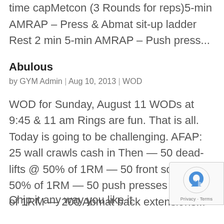time capMetcon (3 Rounds for reps)5-min AMRAP – Press & Abmat sit-up ladder Rest 2 min 5-min AMRAP – Push press...
Abulous
by GYM Admin | Aug 10, 2013 | WOD
WOD for Sunday, August 11 WODs at 9:45 & 11 am Rings are fun. That is all. Today is going to be challenging. AFAP: 25 wall crawls cash in Then — 50 dead-lifts @ 50% of 1RM — 50 front squats @ 50% of 1RM — 50 push presses @ 50% of 1RM — 200 Abmat back extensions...
Chip it any way you like it